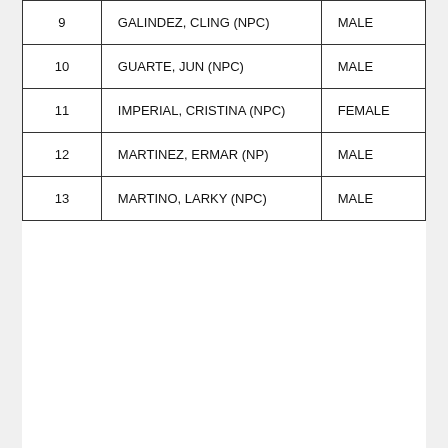| 9 | GALINDEZ, CLING (NPC) | MALE |
| 10 | GUARTE, JUN (NPC) | MALE |
| 11 | IMPERIAL, CRISTINA (NPC) | FEMALE |
| 12 | MARTINEZ, ERMAR (NP) | MALE |
| 13 | MARTINO, LARKY (NPC) | MALE |